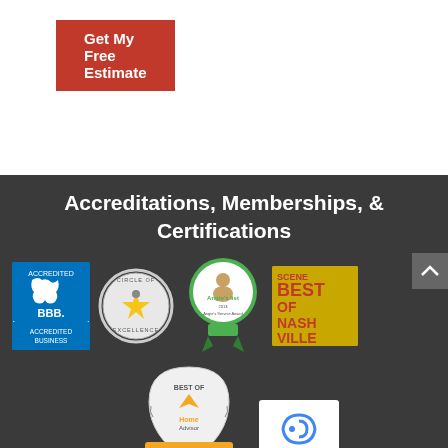[Figure (other): Orange-red 'Get My Free Estimate' button]
Accreditations, Memberships, & Certifications
[Figure (logo): Row of accreditation logos: BBB Accredited Business Rating A+, Circle of Excellence, Angie's List Super Service Award 2013, SCENE Best of Nashville]
[Figure (logo): HomeAdvisor Best Of 2017 Winner badge and reCAPTCHA badge]